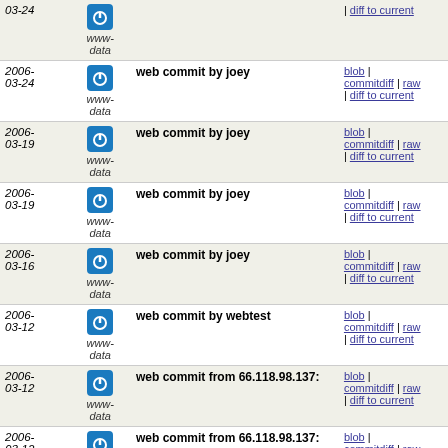| Date | Author | Commit Message | Links |
| --- | --- | --- | --- |
| 2006-03-24 | www-data |  | | diff to current |
| 2006-03-24 | www-data | web commit by joey | blob | commitdiff | raw | diff to current |
| 2006-03-19 | www-data | web commit by joey | blob | commitdiff | raw | diff to current |
| 2006-03-19 | www-data | web commit by joey | blob | commitdiff | raw | diff to current |
| 2006-03-16 | www-data | web commit by joey | blob | commitdiff | raw | diff to current |
| 2006-03-12 | www-data | web commit by webtest | blob | commitdiff | raw | diff to current |
| 2006-03-12 | www-data | web commit from 66.118.98.137: | blob | commitdiff | raw | diff to current |
| 2006-03-12 | www-data | web commit from 66.118.98.137: | blob | commitdiff | raw | diff to current |
| 2006-03-11 | www-data | web commit from 151.196.18.127: There, un[[]]'d. | blob | commitdiff | raw | diff to current |
| 2006- | www-data | web commit from 151.196.18.127: | blob | |